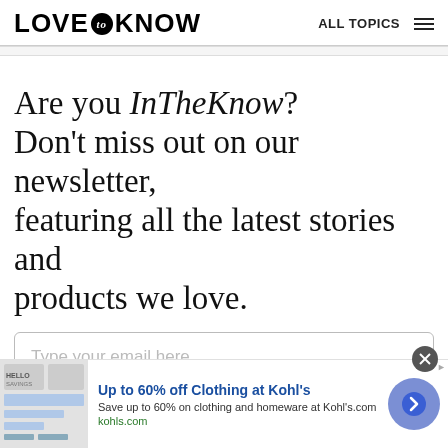LOVE to KNOW — ALL TOPICS
Are you InTheKnow? Don't miss out on our newsletter, featuring all the latest stories and products we love.
Type your email here...
[Figure (screenshot): Advertisement banner: Up to 60% off Clothing at Kohl's. Save up to 60% on clothing and homeware at Kohl's.com. kohls.com]
Up to 60% off Clothing at Kohl's
Save up to 60% on clothing and homeware at Kohl's.com
kohls.com